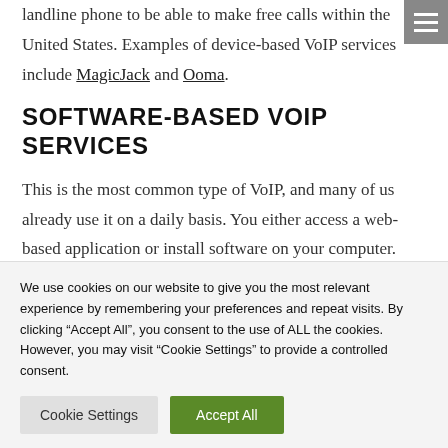landline phone to be able to make free calls within the United States. Examples of device-based VoIP services include MagicJack and Ooma.
SOFTWARE-BASED VOIP SERVICES
This is the most common type of VoIP, and many of us already use it on a daily basis. You either access a web-based application or install software on your computer. You then use your computer's audio and video input and output devices to communicate with others. Popular
We use cookies on our website to give you the most relevant experience by remembering your preferences and repeat visits. By clicking "Accept All", you consent to the use of ALL the cookies. However, you may visit "Cookie Settings" to provide a controlled consent.